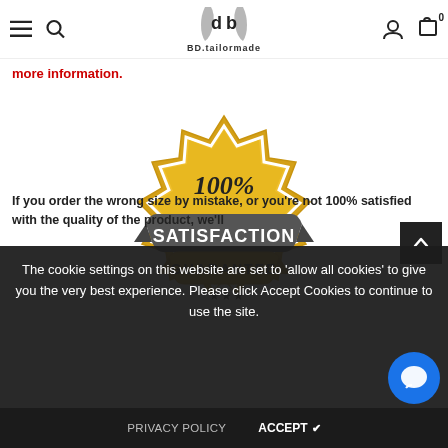BD.tailormade — navigation header with hamburger, search, logo, user icon, cart (0)
more information.
[Figure (illustration): 100% Satisfaction Guarantee badge/seal in gold and grey colors with stars]
If you order the wrong size by mistake, or you're not 100% satisfied with the quality of the product, we'll
The cookie settings on this website are set to 'allow all cookies' to give you the very best experience. Please click Accept Cookies to continue to use the site.
PRIVACY POLICY    ACCEPT ✔